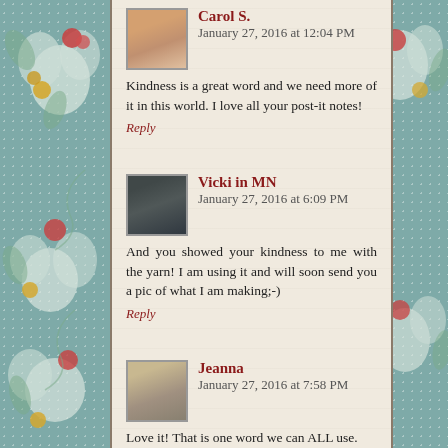Carol S. January 27, 2016 at 12:04 PM
Kindness is a great word and we need more of it in this world. I love all your post-it notes!
Reply
Vicki in MN January 27, 2016 at 6:09 PM
And you showed your kindness to me with the yarn! I am using it and will soon send you a pic of what I am making;-)
Reply
Jeanna January 27, 2016 at 7:58 PM
Love it! That is one word we can ALL use.
Hugs!
Reply
Lady Jane January 27, 2016 at 8:46 PM